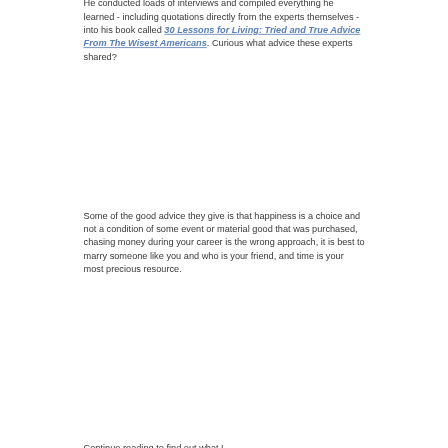He conducted loads of interviews and compiled everything he learned - including quotations directly from the experts themselves - into his book called 30 Lessons for Living: Tried and True Advice From The Wisest Americans. Curious what advice these experts shared?
Some of the good advice they give is that happiness is a choice and not a condition of some event or material good that was purchased, chasing money during your career is the wrong approach, it is best to marry someone like you and who is your friend, and time is your most precious resource.
Continue reading to find out what I